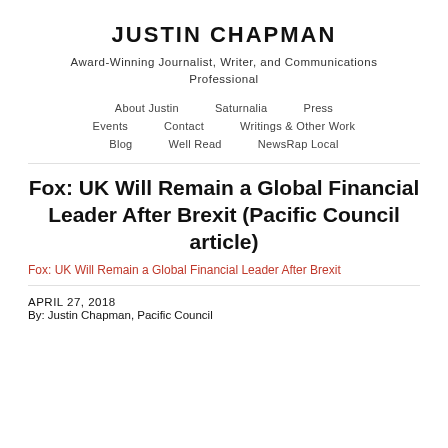JUSTIN CHAPMAN
Award-Winning Journalist, Writer, and Communications Professional
About Justin    Saturnalia    Press
Events    Contact    Writings & Other Work
Blog    Well Read    NewsRap Local
Fox: UK Will Remain a Global Financial Leader After Brexit (Pacific Council article)
Fox: UK Will Remain a Global Financial Leader After Brexit
APRIL 27, 2018
By: Justin Chapman, Pacific Council